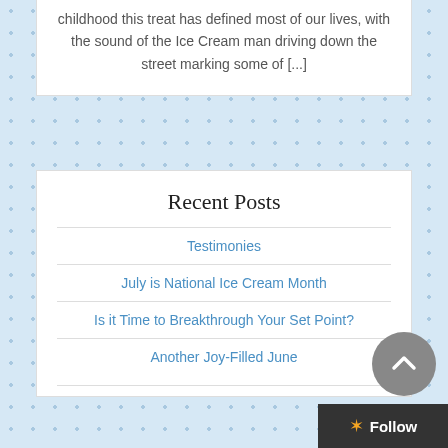childhood this treat has defined most of our lives, with the sound of the Ice Cream man driving down the street marking some of [...]
Recent Posts
Testimonies
July is National Ice Cream Month
Is it Time to Breakthrough Your Set Point?
Another Joy-Filled June